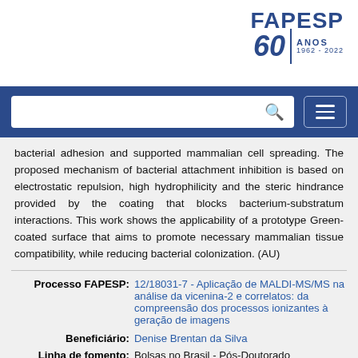[Figure (logo): FAPESP 60 Anos logo with blue wordmark, stylized 60, and ANOS 1962-2022 text]
[Figure (screenshot): Navigation bar with search box and hamburger menu button on blue background]
bacterial adhesion and supported mammalian cell spreading. The proposed mechanism of bacterial attachment inhibition is based on electrostatic repulsion, high hydrophilicity and the steric hindrance provided by the coating that blocks bacterium-substratum interactions. This work shows the applicability of a prototype Green-coated surface that aims to promote necessary mammalian tissue compatibility, while reducing bacterial colonization. (AU)
| Label | Value |
| --- | --- |
| Processo FAPESP: | 12/18031-7 - Aplicação de MALDI-MS/MS na análise da vicenina-2 e correlatos: da compreensão dos processos ionizantes à geração de imagens |
| Beneficiário: | Denise Brentan da Silva |
| Linha de fomento: | Bolsas no Brasil - Pós-Doutorado |
| Processo FAPESP: | 14/50265-3 - Metabolismo e |